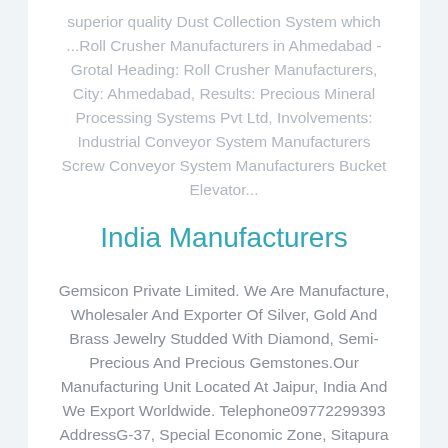superior quality Dust Collection System which ...Roll Crusher Manufacturers in Ahmedabad - Grotal Heading: Roll Crusher Manufacturers, City: Ahmedabad, Results: Precious Mineral Processing Systems Pvt Ltd, Involvements: Industrial Conveyor System Manufacturers Screw Conveyor System Manufacturers Bucket Elevator...
India Manufacturers
Gemsicon Private Limited. We Are Manufacture, Wholesaler And Exporter Of Silver, Gold And Brass Jewelry Studded With Diamond, Semi-Precious And Precious Gemstones.Our Manufacturing Unit Located At Jaipur, India And We Export Worldwide. Telephone09772299393 AddressG-37, Special Economic Zone, Sitapura Industrial Area, A Precious Resources WaterA Precious...